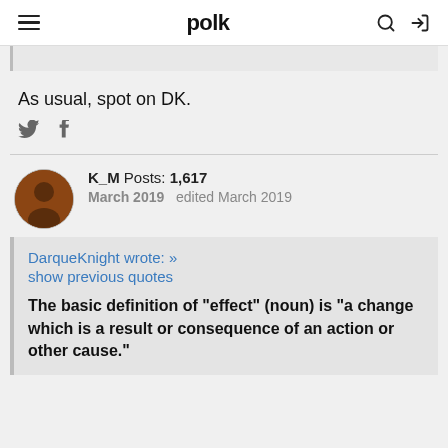polk
As usual, spot on DK.
K_M  Posts: 1,617
March 2019  edited March 2019
DarqueKnight wrote: »
show previous quotes

The basic definition of "effect" (noun) is "a change which is a result or consequence of an action or other cause."